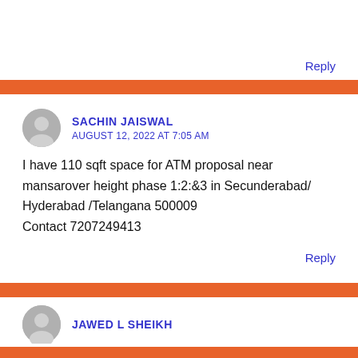Reply
SACHIN JAISWAL
AUGUST 12, 2022 AT 7:05 AM
I have 110 sqft space for ATM proposal near mansarover height phase 1:2:&3 in Secunderabad/ Hyderabad /Telangana 500009
Contact 7207249413
Reply
JAWED L SHEIKH